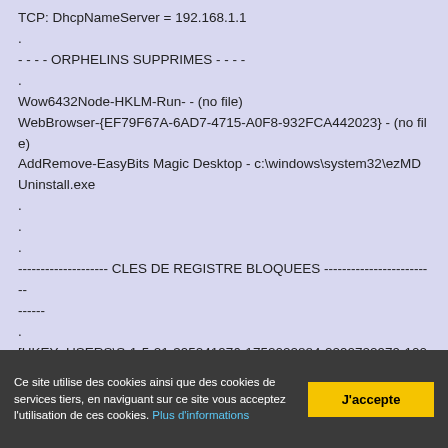TCP: DhcpNameServer = 192.168.1.1
.
- - - - ORPHELINS SUPPRIMES - - - -
.
Wow6432Node-HKLM-Run- - (no file)
WebBrowser-{EF79F67A-6AD7-4715-A0F8-932FCA442023} - (no file)
AddRemove-EasyBits Magic Desktop - c:\windows\system32\ezMDUninstall.exe
.
.
.
-------------------- CLES DE REGISTRE BLOQUEES --------------------------
.
[HKEY_USERS\S-1-5-21-395241976-1752022884-2290722979-1000\Software\SecuROM\License information*]
@Allowed: (Read) (RestrictedCode)
.
[HK...
Ce site utilise des cookies ainsi que des cookies de services tiers, en naviguant sur ce site vous acceptez l'utilisation de ces cookies. Plus d'informations
J'accepte